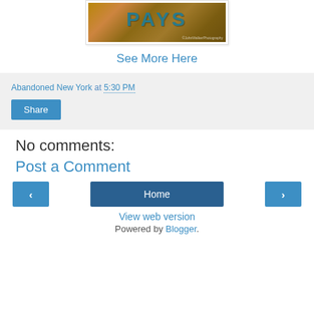[Figure (photo): Cropped photo of a rusty sign with teal letters spelling PAYS, with watermark text]
See More Here
Abandoned New York at 5:30 PM
Share
No comments:
Post a Comment
‹
Home
›
View web version
Powered by Blogger.